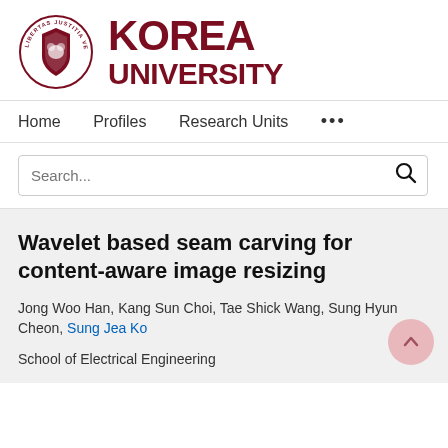[Figure (logo): Korea University logo with circular emblem (Libertas Justitia Veritas) and bold red KOREA UNIVERSITY wordmark]
Home   Profiles   Research Units   ...
Search...
Wavelet based seam carving for content-aware image resizing
Jong Woo Han, Kang Sun Choi, Tae Shick Wang, Sung Hyun Cheon, Sung Jea Ko
School of Electrical Engineering